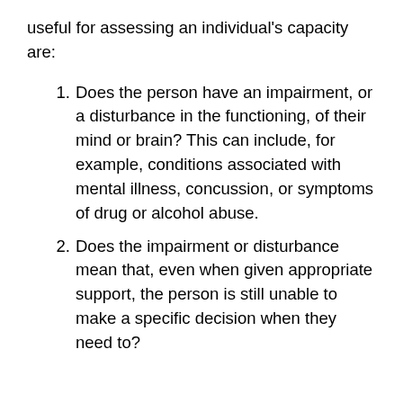useful for assessing an individual's capacity are:
Does the person have an impairment, or a disturbance in the functioning, of their mind or brain? This can include, for example, conditions associated with mental illness, concussion, or symptoms of drug or alcohol abuse.
Does the impairment or disturbance mean that, even when given appropriate support, the person is still unable to make a specific decision when they need to?